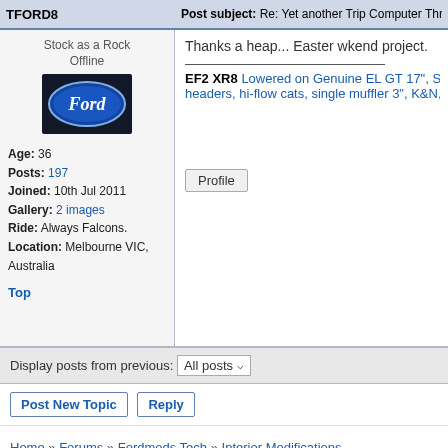TFORD8 | Post subject: Re: Yet another Trip Computer Thread (EL
Stock as a Rock
Offline
[Figure (logo): Ford oval logo on dark background]
Age: 36
Posts: 197
Joined: 10th Jul 2011
Gallery: 2 images
Ride: Always Falcons.
Location: Melbourne VIC, Australia
Top
Thanks a heap... Easter wkend project.
EF2 XR8 Lowered on Genuine EL GT 17", S headers, hi-flow cats, single muffler 3", K&N,
Profile
Display posts from previous: All posts
Post New Topic  Reply
Home » Forums » Fordmods Tech » Interior Modifications
Who is online
Users browsing this forum: No registered users and 12 guests